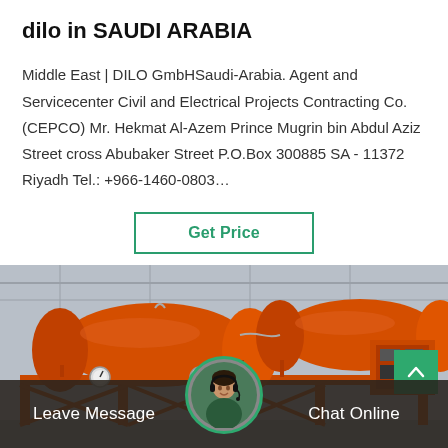dilo in SAUDI ARABIA
Middle East | DILO GmbHSaudi-Arabia. Agent and Servicecenter Civil and Electrical Projects Contracting Co. (CEPCO) Mr. Hekmat Al-Azem Prince Mugrin bin Abdul Aziz Street cross Abubaker Street P.O.Box 300885 SA - 11372 Riyadh Tel.: +966-1460-0803…
[Figure (other): Get Price button with green border]
[Figure (photo): Industrial orange gas equipment (pressure vessels/tanks) mounted on orange frame structure inside a warehouse/industrial building]
Leave Message  Chat Online